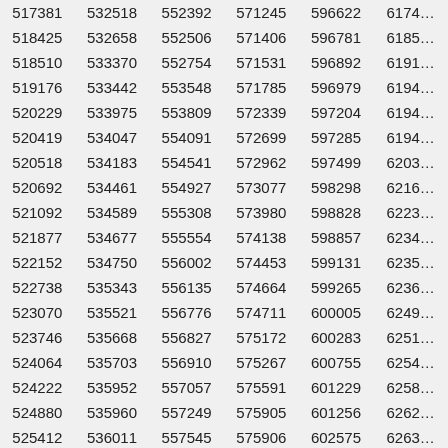| 517381 | 532518 | 552392 | 571245 | 596622 | 6174… |
| 518425 | 532658 | 552506 | 571406 | 596781 | 6185… |
| 518510 | 533370 | 552754 | 571531 | 596892 | 6191… |
| 519176 | 533442 | 553548 | 571785 | 596979 | 6194… |
| 520229 | 533975 | 553809 | 572339 | 597204 | 6194… |
| 520419 | 534047 | 554091 | 572699 | 597285 | 6194… |
| 520518 | 534183 | 554541 | 572962 | 597499 | 6203… |
| 520692 | 534461 | 554927 | 573077 | 598298 | 6216… |
| 521092 | 534589 | 555308 | 573980 | 598828 | 6223… |
| 521877 | 534677 | 555554 | 574138 | 598857 | 6234… |
| 522152 | 534750 | 556002 | 574453 | 599131 | 6235… |
| 522738 | 535343 | 556135 | 574664 | 599265 | 6236… |
| 523070 | 535521 | 556776 | 574711 | 600005 | 6249… |
| 523746 | 535668 | 556827 | 575172 | 600283 | 6251… |
| 524064 | 535703 | 556910 | 575267 | 600755 | 6254… |
| 524222 | 535952 | 557057 | 575591 | 601229 | 6258… |
| 524880 | 535960 | 557249 | 575905 | 601256 | 6262… |
| 525412 | 536011 | 557545 | 575906 | 602575 | 6263… |